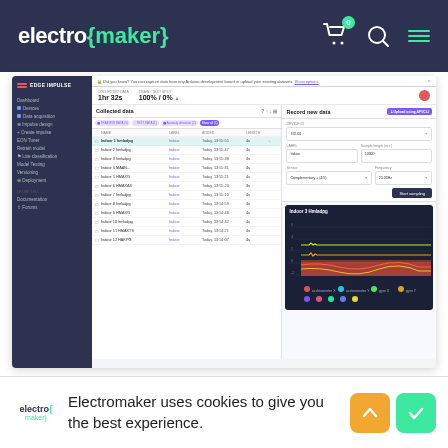electro {maker} — navigation header with cart, search, and menu icons
[Figure (screenshot): Edge Impulse web application screenshot showing data collection interface with sidebar navigation, collected data table listing Indoor samples with labels and timestamps, and a Record new data panel on the right with form fields and a signal visualization chart showing Indoor 3 Hmladpg waveform in dark theme]
Perform Train/Test split data. Train/Test is a
Electromaker uses cookies to give you the best experience.